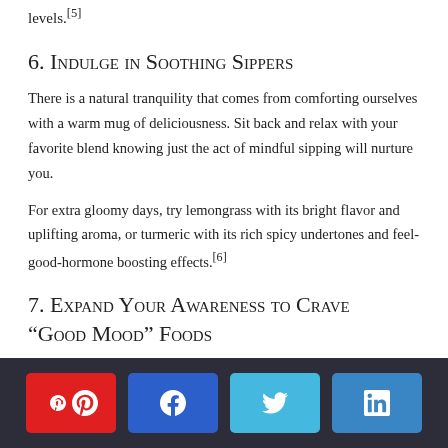levels.[5]
6. Indulge in Soothing Sippers
There is a natural tranquility that comes from comforting ourselves with a warm mug of deliciousness. Sit back and relax with your favorite blend knowing just the act of mindful sipping will nurture you.
For extra gloomy days, try lemongrass with its bright flavor and uplifting aroma, or turmeric with its rich spicy undertones and feel-good-hormone boosting effects.[6]
7. Expand Your Awareness to Crave “Good Mood” Foods
Social share bar: Pinterest, Facebook, Twitter, LinkedIn